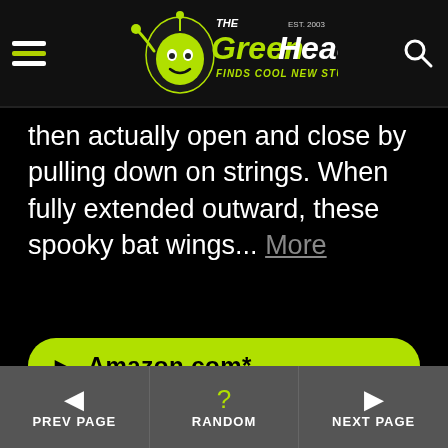The Green Head - Finds Cool New Stuff!
then actually open and close by pulling down on strings. When fully extended outward, these spooky bat wings... More
► Amazon.com*
◄ PREV PAGE  ? RANDOM  ► NEXT PAGE